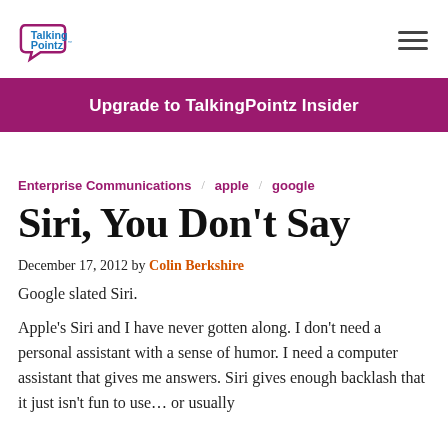Talking Pointz (logo)
Upgrade to TalkingPointz Insider
Enterprise Communications  apple  google
Siri, You Don't Say
December 17, 2012 by Colin Berkshire
Google slated Siri.
Apple's Siri and I have never gotten along. I don't need a personal assistant with a sense of humor. I need a computer assistant that gives me answers. Siri gives enough backlash that it just isn't fun to use… or usually